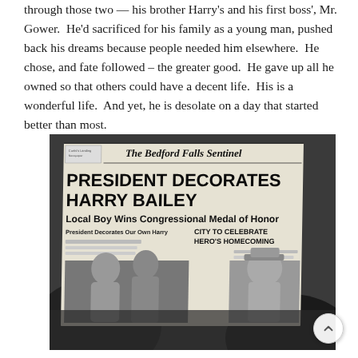through those two — his brother Harry's and his first boss', Mr. Gower. He'd sacrificed for his family as a young man, pushed back his dreams because people needed him elsewhere. He chose, and fate followed – the greater good. He gave up all he owned so that others could have a decent life. His is a wonderful life. And yet, he is desolate on a day that started better than most.
[Figure (photo): A black and white photograph of a newspaper front page being held up. The newspaper is 'The Bedford Falls Sentinel' with the headline 'PRESIDENT DECORATES HARRY BAILEY' and subheadlines 'Local Boy Wins Congressional Medal of Honor' and 'CITY TO CELEBRATE HERO'S HOMECOMING'. Below the headlines are photographs within the newspaper of people.]